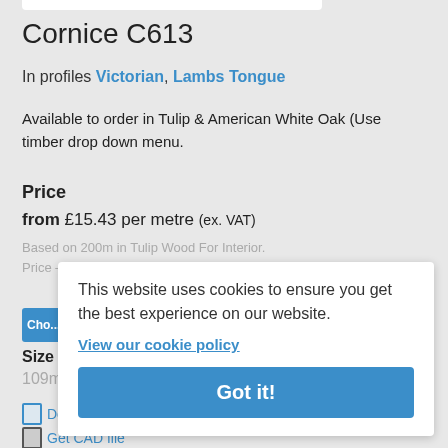Cornice C613
In profiles Victorian, Lambs Tongue
Available to order in Tulip & American White Oak (Use timber drop down menu.
Price
from £15.43 per metre (ex. VAT)
Based on 200m in Tulip Wood For Interior.
Price — this website uses all higher references
This website uses cookies to ensure you get the best experience on our website. View our cookie policy Got it!
Size (change in panel below)
109mm x 109mm
Download PDF
Get CAD file